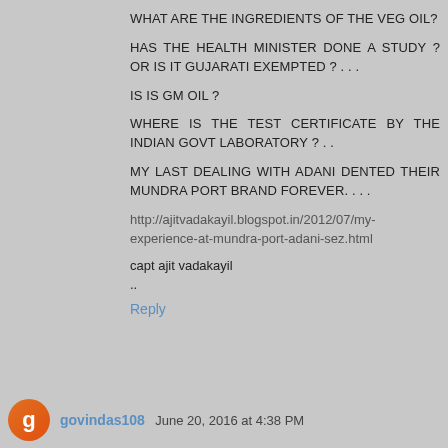WHAT ARE THE INGREDIENTS OF THE VEG OIL?
HAS THE HEALTH MINISTER DONE A STUDY ? OR IS IT GUJARATI EXEMPTED ? . . .
IS IS GM OIL ?
WHERE IS THE TEST CERTIFICATE BY THE INDIAN GOVT LABORATORY ? . .
MY LAST DEALING WITH ADANI DENTED THEIR MUNDRA PORT BRAND FOREVER. . . .
http://ajitvadakayil.blogspot.in/2012/07/my-experience-at-mundra-port-adani-sez.html
capt ajit vadakayil
..
Reply
govindas108  June 20, 2016 at 4:38 PM